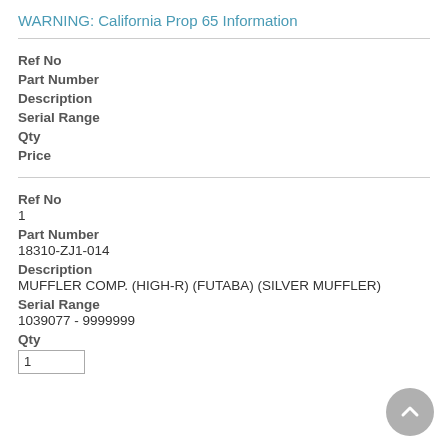WARNING: California Prop 65 Information
Ref No
Part Number
Description
Serial Range
Qty
Price
Ref No
1
Part Number
18310-ZJ1-014
Description
MUFFLER COMP. (HIGH-R) (FUTABA) (SILVER MUFFLER)
Serial Range
1039077 - 9999999
Qty
1